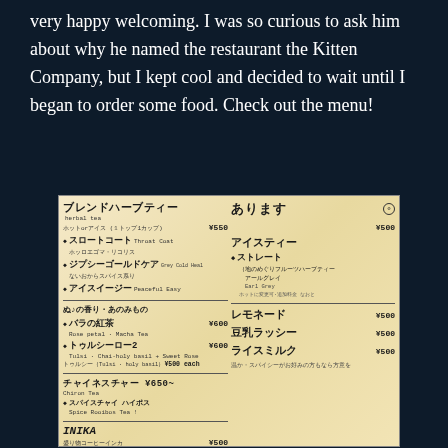very happy welcoming. I was so curious to ask him about why he named the restaurant the Kitten Company, but I kept cool and decided to wait until I began to order some food. Check out the menu!
[Figure (photo): A photograph of a Japanese restaurant menu written on a board/paper, showing various tea and drink options with prices in yen. Left side shows blended herbal teas and specialty drinks. Right side shows iced teas, fruit teas, lemonade, lassi, and ice milk options.]